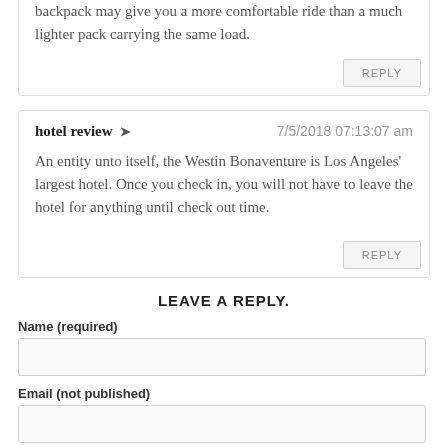backpack may give you a more comfortable ride than a much lighter pack carrying the same load.
REPLY
hotel review ➔   7/5/2018 07:13:07 am
An entity unto itself, the Westin Bonaventure is Los Angeles' largest hotel. Once you check in, you will not have to leave the hotel for anything until check out time.
REPLY
LEAVE A REPLY.
Name (required)
Email (not published)
Website